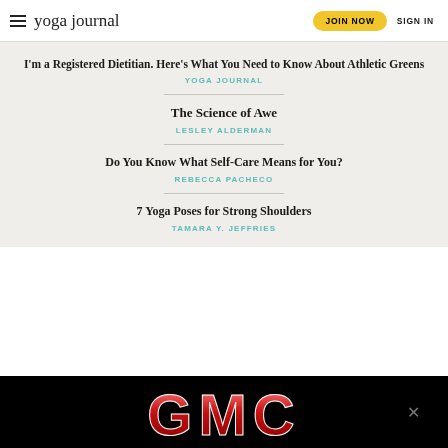yoga journal | JOIN NOW | SIGN IN
I'm a Registered Dietitian. Here's What You Need to Know About Athletic Greens
YOGA JOURNAL
The Science of Awe
LESLEY ALDERMAN
Do You Know What Self-Care Means for You?
REBECCA PACHECO
7 Yoga Poses for Strong Shoulders
TAMARA Y. JEFFRIES
[Figure (logo): GMC advertisement banner with red metallic GMC logo on black background]